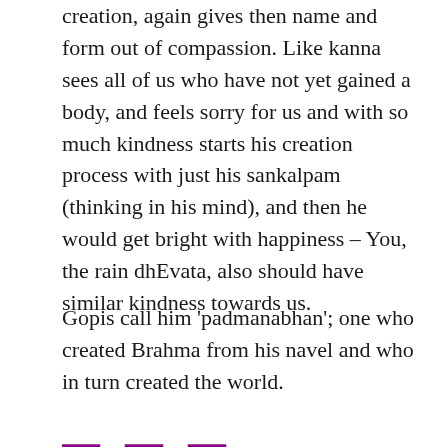creation, again gives then name and form out of compassion. Like kanna sees all of us who have not yet gained a body, and feels sorry for us and with so much kindness starts his creation process with just his sankalpam (thinking in his mind), and then he would get bright with happiness – You, the rain dhEvata, also should have similar kindness towards us.
Gopis call him 'padmanabhan'; one who created Brahma from his navel and who in turn created the world.